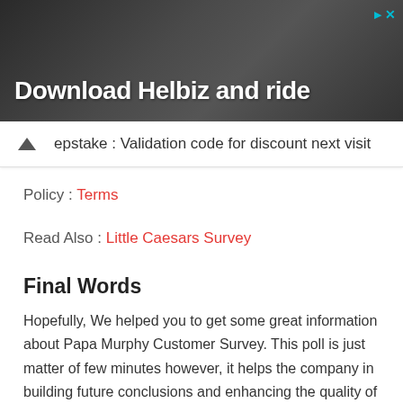[Figure (photo): Advertisement banner for Helbiz app with dark background and text 'Download Helbiz and ride']
epstake : Validation code for discount next visit
Policy : Terms
Read Also : Little Caesars Survey
Final Words
Hopefully, We helped you to get some great information about Papa Murphy Customer Survey. This poll is just matter of few minutes however, it helps the company in building future conclusions and enhancing the quality of the product